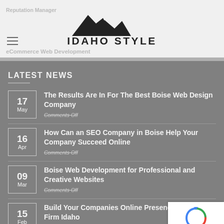Reputation Management | eCommerce Web Development
[Figure (logo): Idaho Style logo with mountain silhouette above text IDAHO STYLE]
LATEST NEWS
17 May – The Results Are In For The Best Boise Web Design Company – Comments Off
16 Apr – How Can an SEO Company in Boise Help Your Company Succeed Online – Comments Off
09 Mar – Boise Web Development for Professional and Creative Websites – Comments Off
15 Feb – Build Your Companies Online Presence with a Firm Idaho